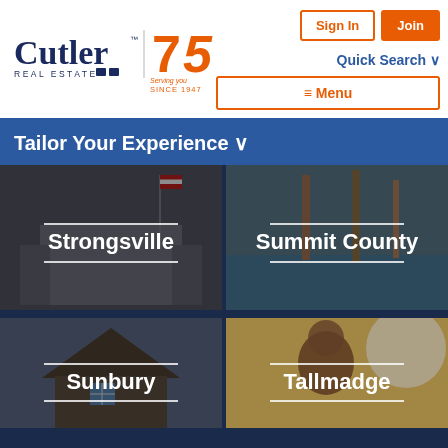[Figure (logo): Cutler Real Estate logo with 75th anniversary mark]
Sign In
Join
Quick Search ∨
≡ Menu
Tailor Your Experience ∨
[Figure (photo): Strongsville location card showing a building with columns]
[Figure (photo): Summit County location card showing trees and water]
[Figure (photo): Sunbury location card showing a house exterior]
[Figure (photo): Tallmadge location card showing a person outdoors]